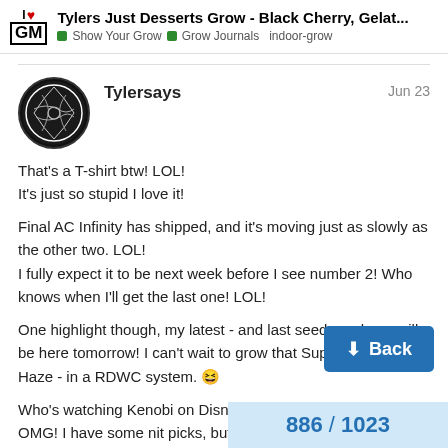Tylers Just Desserts Grow - Black Cherry, Gelat... | Show Your Grow | Grow Journals | indoor-grow
Tylersays
Jun 23
That's a T-shirt btw! LOL!
It's just so stupid I love it!

Final AC Infinity has shipped, and it's moving just as slowly as the other two. LOL!
I fully expect it to be next week before I see number 2! Who knows when I'll get the last one! LOL!

One highlight though, my latest - and last seed purchase will be here tomorrow! I can't wait to grow that Super Lemon Haze - in a RDWC system. 😆

Who's watching Kenobi on Disney?
OMG! I have some nit picks, but overall a
Top notch effects and action. Acting was g